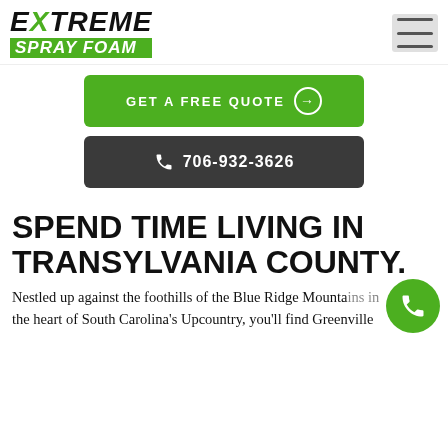EXTREME SPRAY FOAM
GET A FREE QUOTE →
706-932-3626
SPEND TIME LIVING IN TRANSYLVANIA COUNTY.
Nestled up against the foothills of the Blue Ridge Mountains in the heart of South Carolina's Upcountry, you'll find Greenville